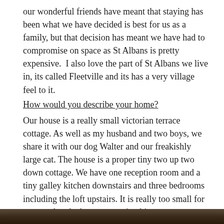our wonderful friends have meant that staying has been what we have decided is best for us as a family, but that decision has meant we have had to compromise on space as St Albans is pretty expensive.  I also love the part of St Albans we live in, its called Fleetville and its has a very village feel to it.
How would you describe your home?
Our house is a really small victorian terrace cottage. As well as my husband and two boys, we share it with our dog Walter and our freakishly large cat. The house is a proper tiny two up two down cottage. We have one reception room and a tiny galley kitchen downstairs and three bedrooms including the loft upstairs. It is really too small for us now that the boys are getting bigger so we are planning on moving within the next year which feels rather sad, as although its tiny it has really shaped how we live.
[Figure (photo): Bottom strip showing a partial photo — dark tones suggesting an indoor or outdoor scene, partially visible at the page bottom.]